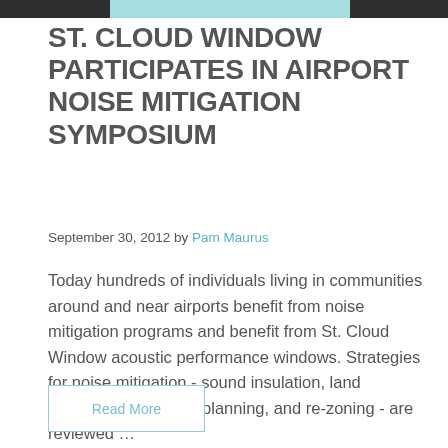ST. CLOUD WINDOW PARTICIPATES IN AIRPORT NOISE MITIGATION SYMPOSIUM
September 30, 2012 by Pam Maurus
Today hundreds of individuals living in communities around and near airports benefit from noise mitigation programs and benefit from St. Cloud Window acoustic performance windows. Strategies for noise mitigation - sound insulation, land acquisition, land use planning, and re-zoning - are reviewed ...
Read More